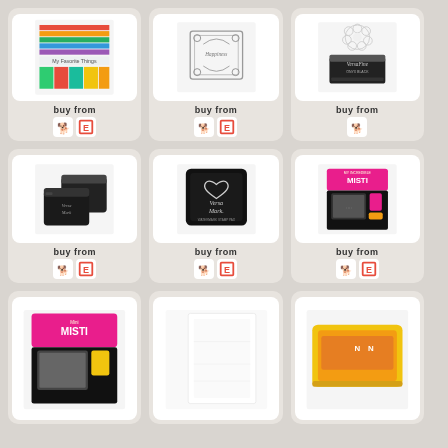[Figure (photo): My Favorite Things colorful patterned paper pad product]
buy from
[Figure (logo): Store icons: dog logo and E logo (Etsy/Ellen Hutson)]
[Figure (photo): Rubber stamp set with floral/decorative border frame]
buy from
[Figure (logo): Store icons: dog logo and E logo]
[Figure (photo): VersaFine Onyx Black ink pad]
buy from
[Figure (logo): Store icon: dog logo only]
[Figure (photo): VersaMark watermark ink pad set (two pads)]
buy from
[Figure (logo): Store icons: dog logo and E logo]
[Figure (photo): VersaMark Watermark Stamp Pad (black square pad)]
buy from
[Figure (logo): Store icons: dog logo and E logo]
[Figure (photo): MISTI stamp tool (pink and black box with accessories)]
buy from
[Figure (logo): Store icons: dog logo and E logo]
[Figure (photo): Mini MISTI stamp tool (pink packaging) - partial view]
[Figure (photo): White card/paper product - partial view]
[Figure (photo): Yellow ink pad/product - partial view]